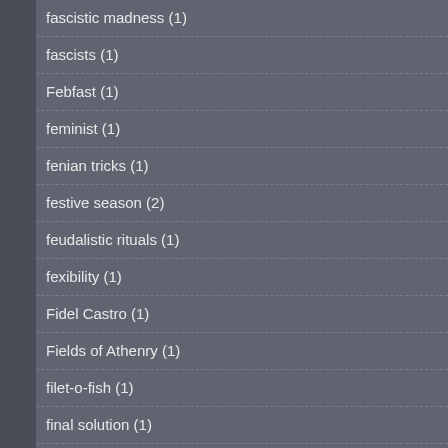fascistic madness (1)
fascists (1)
Febfast (1)
feminist (1)
fenian tricks (1)
festive season (2)
feudalistic rituals (1)
fexibility (1)
Fidel Castro (1)
Fields of Athenry (1)
filet-o-fish (1)
final solution (1)
First Aid Kit (1)
Five Minutes Live (3)
flag (1)
Flogging Molly (6)
FM radio (1)